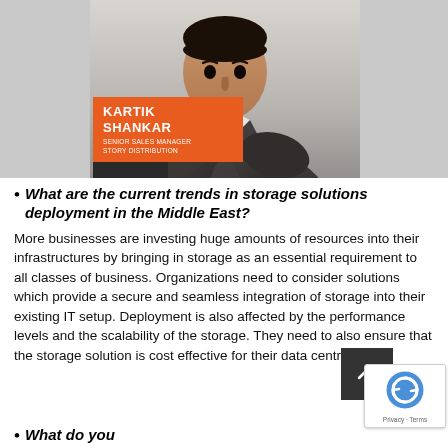[Figure (photo): Professional headshot of Kartik Shankar, Senior Sales Manager, Story Distribution. Man in dark suit with arms crossed, orange name badge overlay in lower left of photo.]
What are the current trends in storage solutions deployment in the Middle East?
More businesses are investing huge amounts of resources into their infrastructures by bringing in storage as an essential requirement to all classes of business. Organizations need to consider solutions which provide a secure and seamless integration of storage into their existing IT setup. Deployment is also affected by the performance levels and the scalability of the storage. They need to also ensure that the storage solution is cost effective for their data centr…
What do you…